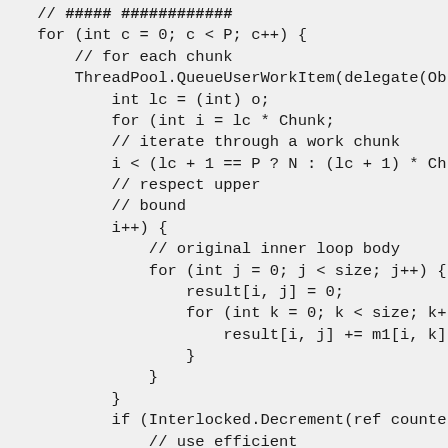code snippet showing parallel threading with ThreadPool, chunk-based iteration, matrix multiplication inner loop, and Interlocked.Decrement synchronization